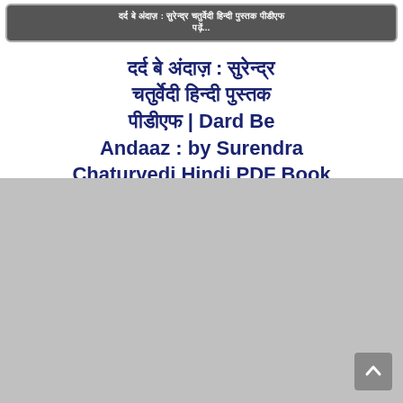दर्द बे अंदाज़ : सुरेन्द्र चतुर्वेदी हिन्दी पुस्तक पीडीएफ...
दर्द बे अंदाज़ : सुरेन्द्र चतुर्वेदी हिन्दी पुस्तक पीडीएफ | Dard Be Andaaz : by Surendra Chaturvedi Hindi PDF Book
[Figure (other): Gray placeholder image area with a scroll-to-top button in the bottom right corner]